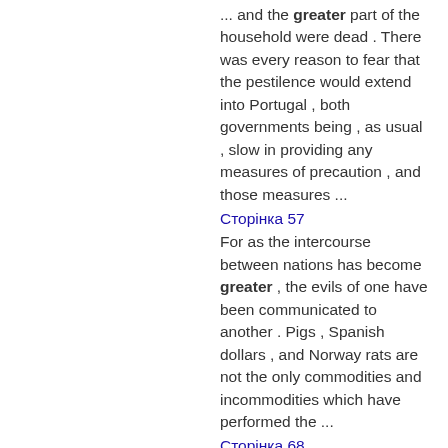... and the greater part of the household were dead . There was every reason to fear that the pestilence would extend into Portugal , both governments being , as usual , slow in providing any measures of precaution , and those measures ...
Сторінка 57
For as the intercourse between nations has become greater , the evils of one have been communicated to another . Pigs , Spanish dollars , and Norway rats are not the only commodities and incommodities which have performed the ...
Сторінка 68